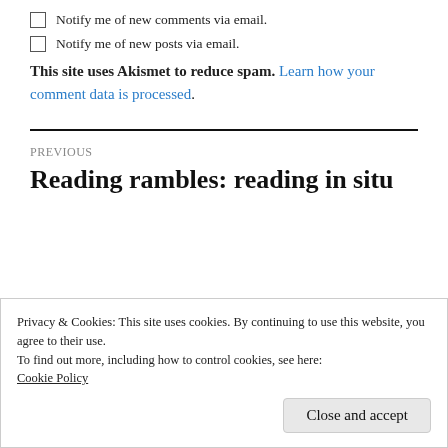Notify me of new comments via email.
Notify me of new posts via email.
This site uses Akismet to reduce spam. Learn how your comment data is processed.
PREVIOUS
Reading rambles: reading in situ
Privacy & Cookies: This site uses cookies. By continuing to use this website, you agree to their use.
To find out more, including how to control cookies, see here:
Cookie Policy
Close and accept